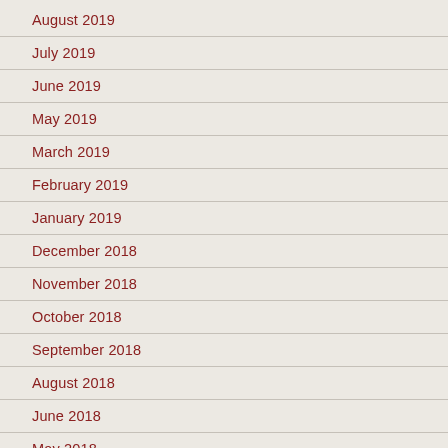August 2019
July 2019
June 2019
May 2019
March 2019
February 2019
January 2019
December 2018
November 2018
October 2018
September 2018
August 2018
June 2018
May 2018
March 2018